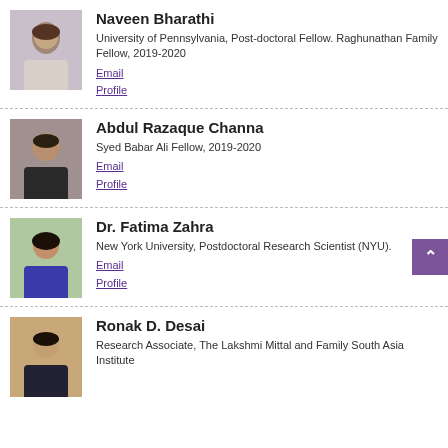[Figure (photo): Headshot of Naveen Bharathi]
Naveen Bharathi
University of Pennsylvania, Post-doctoral Fellow. Raghunathan Family Fellow, 2019-2020
Email
Profile
[Figure (photo): Headshot of Abdul Razaque Channa]
Abdul Razaque Channa
Syed Babar Ali Fellow, 2019-2020
Email
Profile
[Figure (photo): Headshot of Dr. Fatima Zahra]
Dr. Fatima Zahra
New York University, Postdoctoral Research Scientist (NYU).
Email
Profile
[Figure (photo): Headshot of Ronak D. Desai]
Ronak D. Desai
Research Associate, The Lakshmi Mittal and Family South Asia Institute